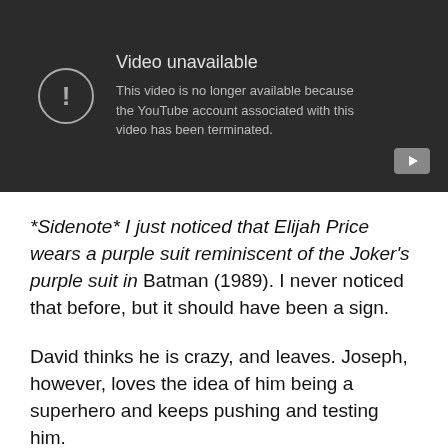[Figure (screenshot): YouTube video unavailable error screen with dark background, exclamation icon in circle, title 'Video unavailable', message 'This video is no longer available because the YouTube account associated with this video has been terminated.' and YouTube logo button in bottom right.]
*Sidenote* I just noticed that Elijah Price wears a purple suit reminiscent of the Joker's purple suit in Batman (1989). I never noticed that before, but it should have been a sign.
David thinks he is crazy, and leaves. Joseph, however, loves the idea of him being a superhero and keeps pushing and testing him.